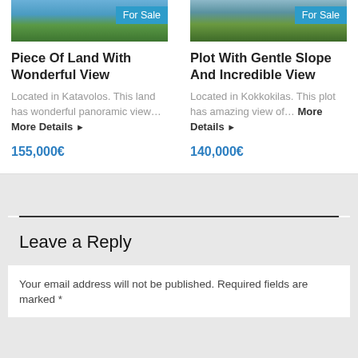[Figure (photo): Property listing photo for land with wonderful view, showing trees and blue sky, with For Sale badge]
Piece Of Land With Wonderful View
Located in Katavolos. This land has wonderful panoramic view… More Details ▶
155,000€
[Figure (photo): Property listing photo for plot with gentle slope, showing trees and sky, with For Sale badge]
Plot With Gentle Slope And Incredible View
Located in Kokkokilas. This plot has amazing view of… More Details ▶
140,000€
Leave a Reply
Your email address will not be published. Required fields are marked *